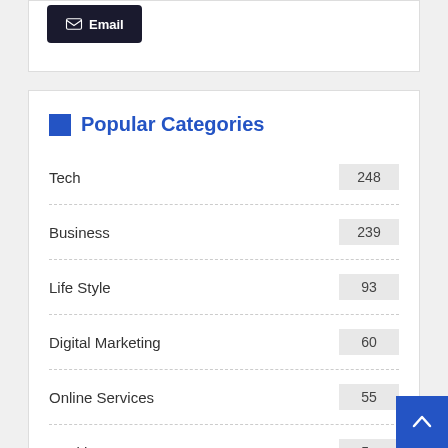Email
Popular Categories
Tech 248
Business 239
Life Style 93
Digital Marketing 60
Online Services 55
Health 53